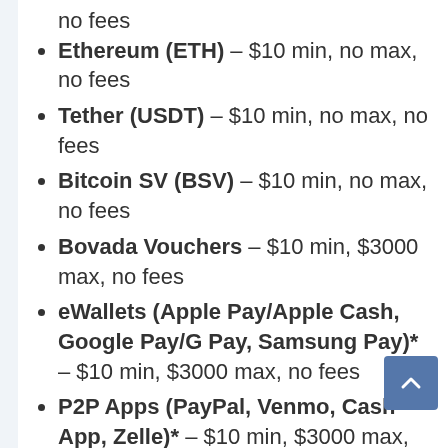no fees
Ethereum (ETH) – $10 min, no max, no fees
Tether (USDT) – $10 min, no max, no fees
Bitcoin SV (BSV) – $10 min, no max, no fees
Bovada Vouchers – $10 min, $3000 max, no fees
eWallets (Apple Pay/Apple Cash, Google Pay/G Pay, Samsung Pay)* – $10 min, $3000 max, no fees
P2P Apps (PayPal, Venmo, Cash App, Zelle)* – $10 min, $3000 max, no fees
Courier Check – $100 min, $3000